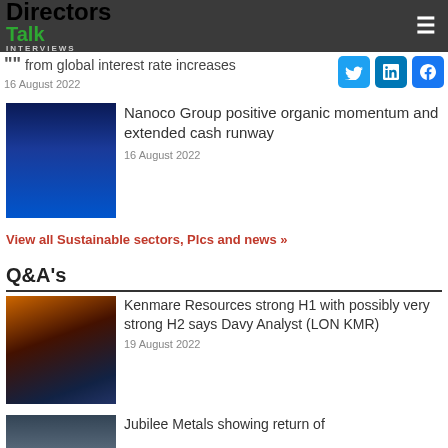DirectorsTalk Interviews
" from global interest rate increases
16 August 2022
Nanoco Group positive organic momentum and extended cash runway
16 August 2022
View all Sustainable sectors, Plcs and news »
Q&A's
Kenmare Resources strong H1 with possibly very strong H2 says Davy Analyst (LON KMR)
19 August 2022
Jubilee Metals showing return of